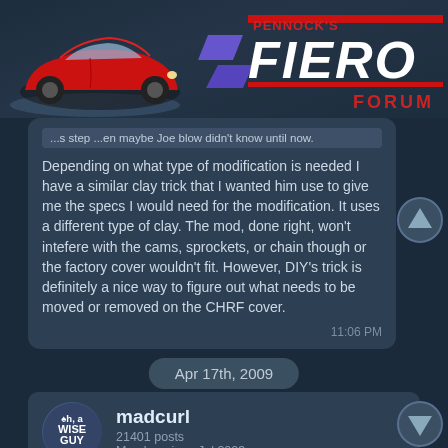[Figure (logo): Pennock's Fiero Forum logo with red Fiero car image and stylized text]
...s step ...en maybe Joe blow didn't know until now.
Depending on what type of modification is needed I have a similar clay trick that I wanted him use to give me the specs I would need for the modification. It uses a different type of clay. The mod, done right, won't intefere with the cams, sprockets, or chain though or the factory cover wouldn't fit. However, DIY's trick is definitely a nice way to figure out what needs to be moved or removed on the CHRF cover.
11:06 PM
Apr 17th, 2009
madcurl
21401 posts
Member since Jul 2003
quote